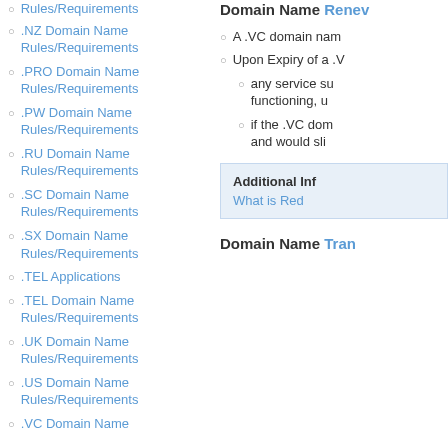Rules/Requirements
.NZ Domain Name Rules/Requirements
.PRO Domain Name Rules/Requirements
.PW Domain Name Rules/Requirements
.RU Domain Name Rules/Requirements
.SC Domain Name Rules/Requirements
.SX Domain Name Rules/Requirements
.TEL Applications
.TEL Domain Name Rules/Requirements
.UK Domain Name Rules/Requirements
.US Domain Name Rules/Requirements
.VC Domain Name
Domain Name Renew...
A .VC domain nam...
Upon Expiry of a .V...
any service su... functioning, u...
if the .VC dom... and would sli...
Additional Inf...
What is Red...
Domain Name Tran...